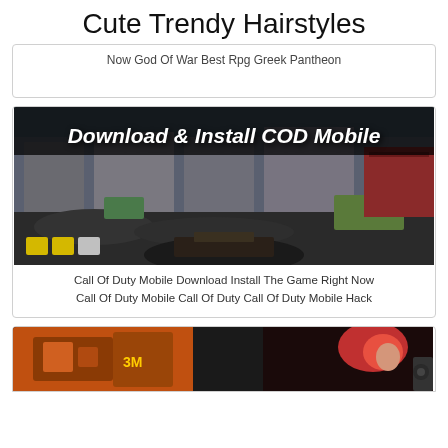Cute Trendy Hairstyles
Now God Of War Best Rpg Greek Pantheon
[Figure (screenshot): Call of Duty Mobile game screenshot with bold white italic text overlay reading 'Download & Install COD Mobile' on top of a first-person shooter scene with buildings, rubble, and a weapon in view]
Call Of Duty Mobile Download Install The Game Right Now Call Of Duty Mobile Call Of Duty Call Of Duty Mobile Hack
[Figure (screenshot): Bottom portion of a fantasy/action game screenshot showing a red-haired female character on the right side and mechanical/robotic elements on the left with orange and dark background]